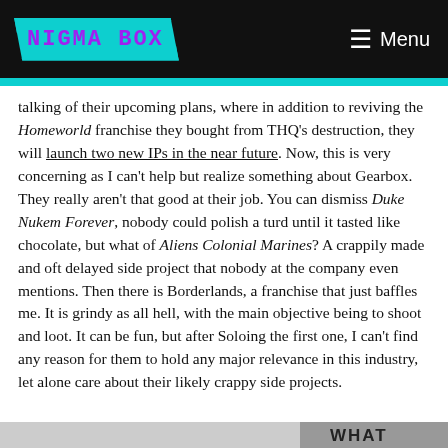NIGMA BOX   ≡ Menu
talking of their upcoming plans, where in addition to reviving the Homeworld franchise they bought from THQ's destruction, they will launch two new IPs in the near future. Now, this is very concerning as I can't help but realize something about Gearbox. They really aren't that good at their job. You can dismiss Duke Nukem Forever, nobody could polish a turd until it tasted like chocolate, but what of Aliens Colonial Marines? A crappily made and oft delayed side project that nobody at the company even mentions. Then there is Borderlands, a franchise that just baffles me. It is grindy as all hell, with the main objective being to shoot and loot. It can be fun, but after Soloing the first one, I can't find any reason for them to hold any major relevance in this industry, let alone care about their likely crappy side projects.
[Figure (illustration): Bottom portion of a comic-style illustration partially visible, with the word WHAT visible on the right side]